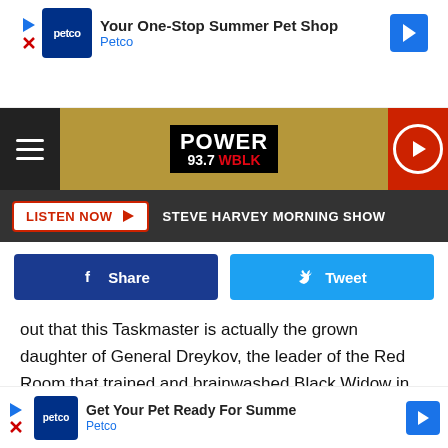[Figure (screenshot): Petco advertisement banner: 'Your One-Stop Summer Pet Shop' with Petco logo and blue arrow icon]
[Figure (logo): Power 93.7 WBLK radio station navigation bar with hamburger menu, logo, and play button]
[Figure (screenshot): Listen Now button with Steve Harvey Morning Show text in dark bar]
[Figure (screenshot): Facebook Share and Twitter Tweet social sharing buttons]
out that this Taskmaster is actually the grown daughter of General Dreykov, the leader of the Red Room that trained and brainwashed Black Widow in the first place.
While this is a clever twist, the change to Taskmaster's origin (and probably more importantly her gender) has left some [text obscured by ad] made this ch[text obscured] k
[Figure (screenshot): Petco advertisement overlay: 'Get Your Pet Ready For Summe' with Petco logo and blue arrow]